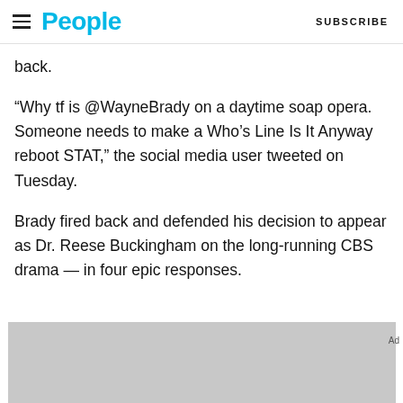People  SUBSCRIBE
back.
“Why tf is @WayneBrady on a daytime soap opera. Someone needs to make a Who’s Line Is It Anyway reboot STAT,” the social media user tweeted on Tuesday.
Brady fired back and defended his decision to appear as Dr. Reese Buckingham on the long-running CBS drama — in four epic responses.
[Figure (other): Gray advertisement placeholder area]